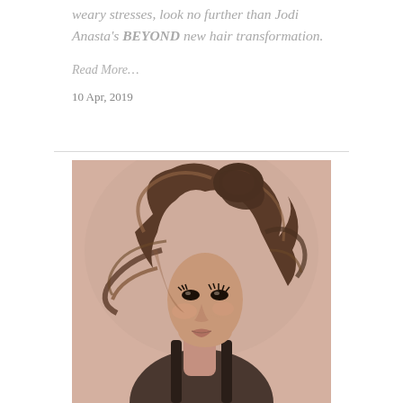weary stresses, look no further than Jodi Anasta's BEYOND new hair transformation.
Read More…
10 Apr, 2019
[Figure (photo): A woman with tousled, windswept medium-length brown/blonde hair, posed against a warm pinkish-beige background, wearing a dark top, looking over her shoulder with dramatic makeup.]